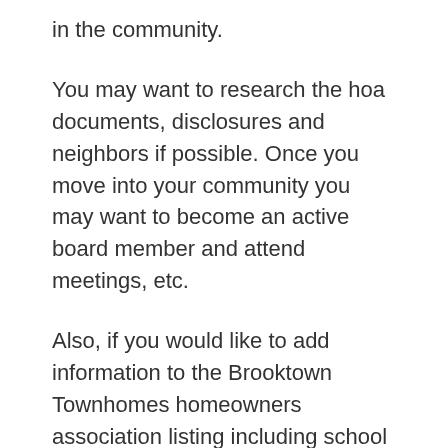in the community.
You may want to research the hoa documents, disclosures and neighbors if possible. Once you move into your community you may want to become an active board member and attend meetings, etc.
Also, if you would like to add information to the Brooktown Townhomes homeowners association listing including school info, CCRs, rules & regulations, floorplans, board members, directors, property management phone numbers, websites, and photos please contact us to let us know.
Again we are not affiliated with Brooktown Townhomes hoa/management company or any real estate agents. So, if you have any questions about the hoa, please